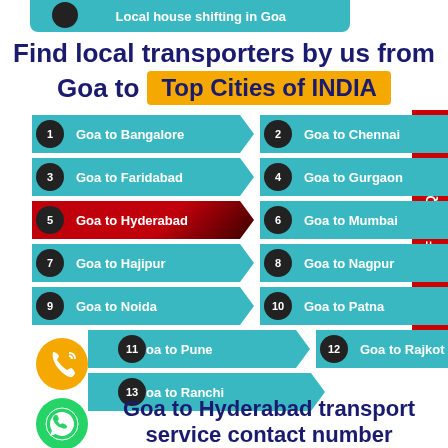[Figure (screenshot): Top banner with circular icon and text 'Local house shifting in Goa']
Find local transporters by us from Goa to Top Cities of INDIA
1 Goa to Bangalore
2 Goa to Chennai
3 Goa to Faridabad
4 Goa to Gurgaon
5 Goa to Hyderabad
6 Goa to Mumbai
7 Goa to Hajipur
8 Goa to Nagpur
9 Goa to Noida
10 Goa to Patna
11 Goa to Pune
12 Goa to Rajkot
13 Goa to Ranchi
Get FREE Quote
Goa to Hyderabad transport service contact number